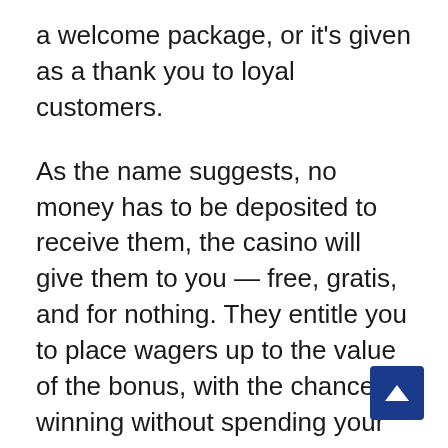a welcome package, or it's given as a thank you to loyal customers.
As the name suggests, no money has to be deposited to receive them, the casino will give them to you — free, gratis, and for nothing. They entitle you to place wagers up to the value of the bonus, with the chance of winning without spending your own money. Now if that isn't a great deal, I don't know what is.
When it comes to cash no deposit bonuses, the amount that's awarded will vary across casinos. R200 no deposit bonuses are quite a common option and great for players to make use of. This is because they offer a good